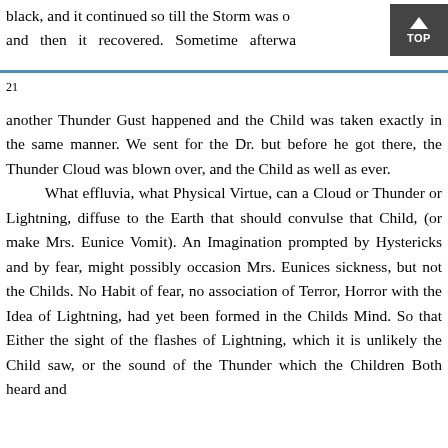black, and it continued so till the Storm was o and then it recovered. Sometime afterwa
21
another Thunder Gust happened and the Child was taken exactly in the same manner. We sent for the Dr. but before he got there, the Thunder Cloud was blown over, and the Child as well as ever. What effluvia, what Physical Virtue, can a Cloud or Thunder or Lightning, diffuse to the Earth that should convulse that Child, (or make Mrs. Eunice Vomit). An Imagination prompted by Hystericks and by fear, might possibly occasion Mrs. Eunices sickness, but not the Childs. No Habit of fear, no association of Terror, Horror with the Idea of Lightning, had yet been formed in the Childs Mind. So that Either the sight of the flashes of Lightning, which it is unlikely the Child saw, or the sound of the Thunder which the Children Both heard and